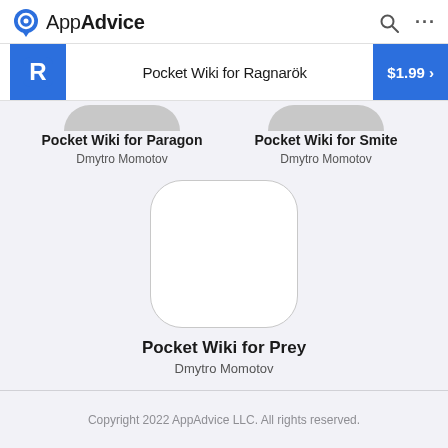AppAdvice
Pocket Wiki for Ragnarök  $1.99 >
Pocket Wiki for Paragon
Dmytro Momotov
Pocket Wiki for Smite
Dmytro Momotov
Pocket Wiki for Prey
Dmytro Momotov
Copyright 2022 AppAdvice LLC. All rights reserved.